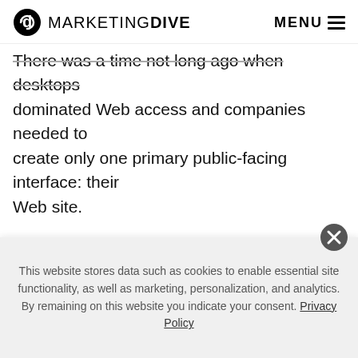MARKETING DIVE  MENU
There was a time not long ago when desktops dominated Web access and companies needed to create only one primary public-facing interface: their Web site.
If the handful of people who had access to a smartphone wanted to access the Web, they had to struggle through the process.
However, we have entered an age where people no longer have the patience to wait when it comes to
This website stores data such as cookies to enable essential site functionality, as well as marketing, personalization, and analytics. By remaining on this website you indicate your consent. Privacy Policy